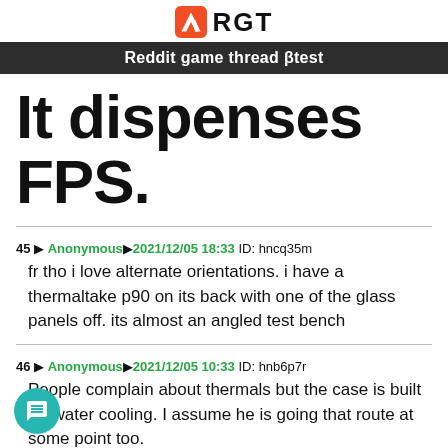RGT
Reddit game thread βtest
It dispenses FPS.
45 ▶ Anonymous▶2021/12/05 18:33 ID: hncq35m
fr tho i love alternate orientations. i have a thermaltake p90 on its back with one of the glass panels off. its almost an angled test bench
46 ▶ Anonymous▶2021/12/05 10:33 ID: hnb6p7r
People complain about thermals but the case is built for water cooling. I assume he is going that route at some point too.